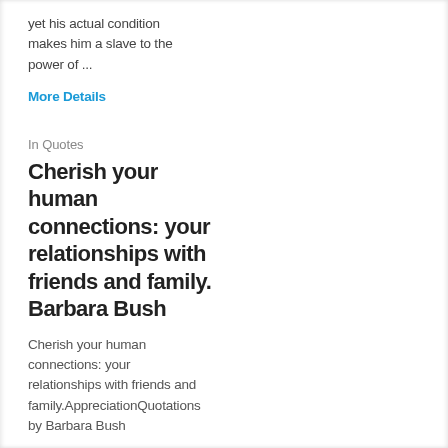yet his actual condition makes him a slave to the power of ...
More Details
In Quotes
Cherish your human connections: your relationships with friends and family. Barbara Bush
Cherish your human connections: your relationships with friends and family.AppreciationQuotations by Barbara Bush
More Details